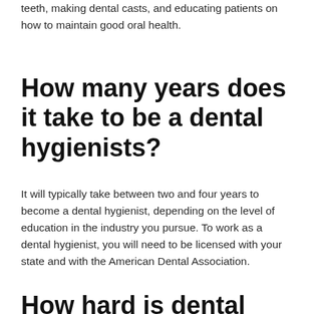teeth, making dental casts, and educating patients on how to maintain good oral health.
How many years does it take to be a dental hygienists?
It will typically take between two and four years to become a dental hygienist, depending on the level of education in the industry you pursue. To work as a dental hygienist, you will need to be licensed with your state and with the American Dental Association.
How hard is dental